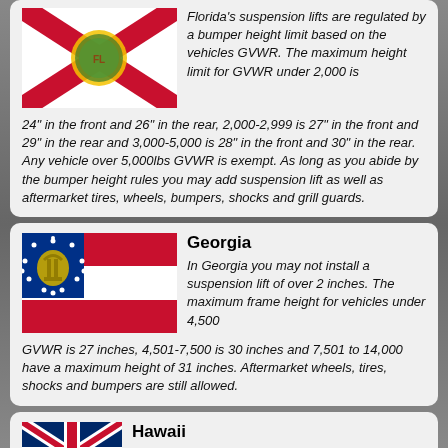[Figure (illustration): Florida state flag (red X on white with state seal in center)]
Florida's suspension lifts are regulated by a bumper height limit based on the vehicles GVWR. The maximum height limit for GVWR under 2,000 is 24" in the front and 26" in the rear, 2,000-2,999 is 27" in the front and 29" in the rear and 3,000-5,000 is 28" in the front and 30" in the rear. Any vehicle over 5,000lbs GVWR is exempt. As long as you abide by the bumper height rules you may add suspension lift as well as aftermarket tires, wheels, bumpers, shocks and grill guards.
[Figure (illustration): Georgia state flag (blue canton with state seal and stars, three red and white horizontal stripes)]
Georgia
In Georgia you may not install a suspension lift of over 2 inches. The maximum frame height for vehicles under 4,500 GVWR is 27 inches, 4,501-7,500 is 30 inches and 7,501 to 14,000 have a maximum height of 31 inches. Aftermarket wheels, tires, shocks and bumpers are still allowed.
[Figure (illustration): Hawaii state flag (Union Jack pattern)]
Hawaii